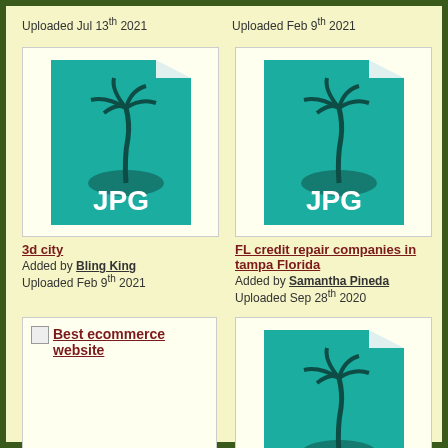Uploaded Jul 13th 2021
Uploaded Feb 9th 2021
[Figure (illustration): JPG file icon with teal color, palm tree graphic, labeled JPG]
3d city
Added by Bling King
Uploaded Feb 9th 2021
[Figure (illustration): JPG file icon with teal color, palm tree graphic, labeled JPG]
FL credit repair companies in tampa Florida
Added by Samantha Pineda
Uploaded Sep 28th 2020
[Figure (illustration): Broken image placeholder with link text: Best ecommerce website]
Best ecommerce website
[Figure (illustration): JPG file icon with teal color, palm tree graphic, labeled JPG]
Mother T...